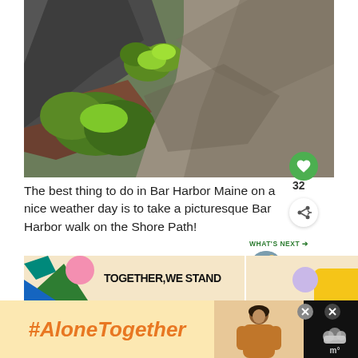[Figure (photo): Aerial/overhead view of a rocky coastal path with green vegetation and shrubs along the Shore Path in Bar Harbor, Maine. Rocky terrain on the left, gravel path on the right, dappled sunlight and shadows.]
The best thing to do in Bar Harbor Maine on a nice weather day is to take a picturesque Bar Harbor walk on the Shore Path!
[Figure (infographic): WHAT'S NEXT arrow label in green with thumbnail image of Acadia coastline and text 'Where to Stay in Acadia...']
[Figure (infographic): Advertisement banner with colorful shapes (green, pink, blue) on left and text 'TOGETHER, WE STAND' in bold black on cream background, with yellow and lavender shapes on right.]
[Figure (infographic): Bottom advertisement banner on black background with '#AloneTogether' in orange italic bold text on light yellow background on left, photo of a woman in the center, and close/X buttons and weather icon on right.]